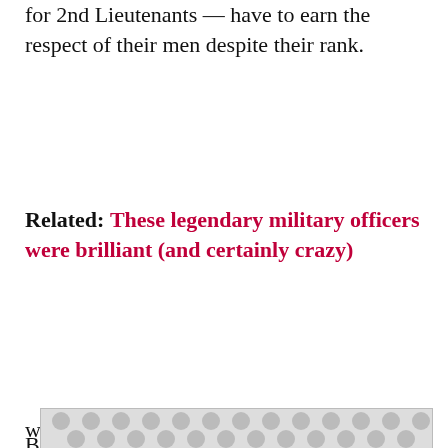for 2nd Lieutenants — have to earn the respect of their men despite their rank.
Related: These legendary military officers were brilliant (and certainly crazy)
But it doesn't stop there, there's added pressure from the other officers higher in the chain. When Chase Millsap a veteran officer of both the Army and Marine Corps infantry got to his first unit, he received a w…
[Figure (other): Advertisement overlay with grey dot pattern]